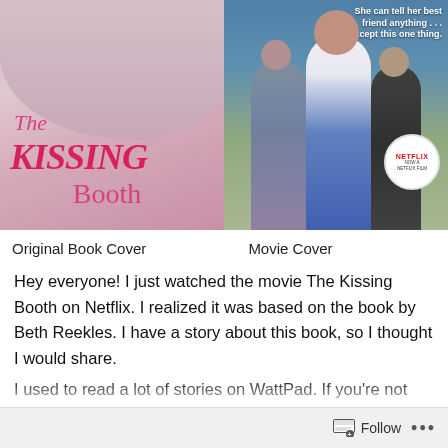[Figure (photo): Side-by-side comparison of The Kissing Booth original book cover (left) and Netflix movie cover (right). Book cover shows couple embracing with pink title text 'The KISSING Booth'. Movie cover shows three teenagers standing with a Netflix badge and tagline 'She can tell her best friend anything... except this one thing.']
Original Book Cover                                     Movie Cover
Hey everyone! I just watched the movie The Kissing Booth on Netflix. I realized it was based on the book by Beth Reekles. I have a story about this book, so I thought I would share.
I used to read a lot of stories on WattPad. If you're not
Follow  ...